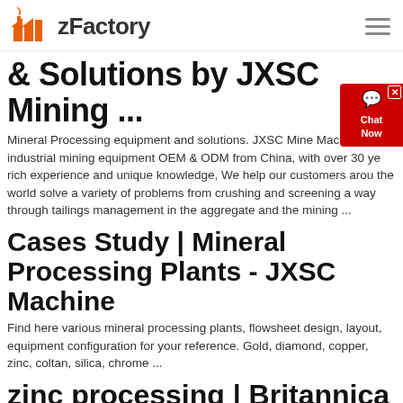zFactory
& Solutions by JXSC Mining ...
Mineral Processing equipment and solutions. JXSC Mine Machinery is a industrial mining equipment OEM & ODM from China, with over 30 ye rich experience and unique knowledge, We help our customers arou the world solve a variety of problems from crushing and screening a way through tailings management in the aggregate and the mining ...
Cases Study | Mineral Processing Plants - JXSC Machine
Find here various mineral processing plants, flowsheet design, layout, equipment configuration for your reference. Gold, diamond, copper, zinc, coltan, silica, chrome ...
zinc processing | Britannica
zinc processing, the extraction of zinc from its ores and the preparation ...